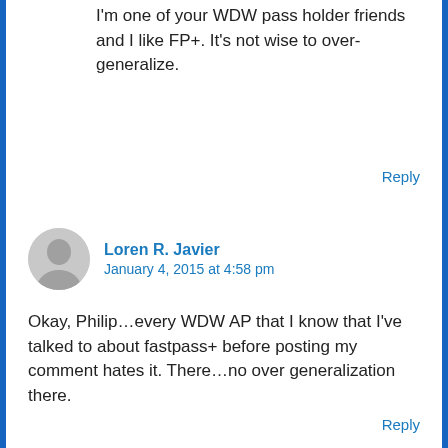I'm one of your WDW pass holder friends and I like FP+. It's not wise to over-generalize.
Reply
Loren R. Javier
January 4, 2015 at 4:58 pm
Okay, Philip…every WDW AP that I know that I've talked to about fastpass+ before posting my comment hates it. There…no over generalization there.
Reply